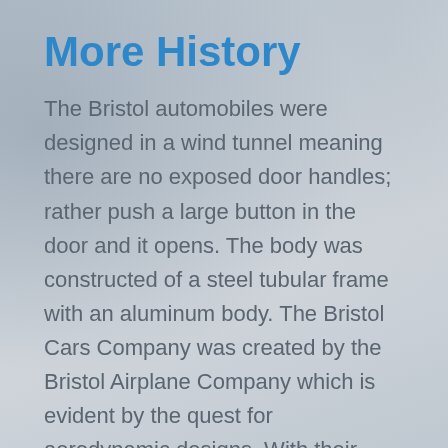More History
The Bristol automobiles were designed in a wind tunnel meaning there are no exposed door handles; rather push a large button in the door and it opens. The body was constructed of a steel tubular frame with an aluminum body. The Bristol Cars Company was created by the Bristol Airplane Company which is evident by the quest for aerodynamic designs. With their experience in designing airplanes it was only natural that the technology and mechanics utilized their aviation experience